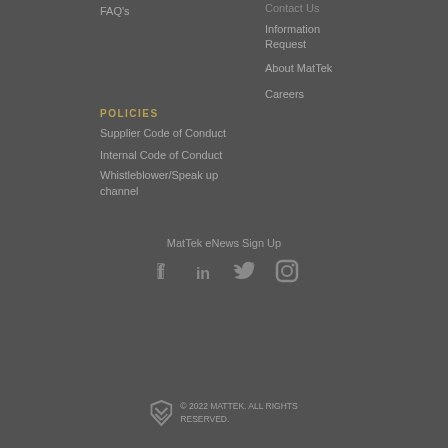FAQ's
Contact Us
Information Request
About MatTek
Careers
POLICIES
Supplier Code of Conduct
Internal Code of Conduct
Whistleblower/Speak up channel
MatTek eNews Sign Up
[Figure (infographic): Social media icons: Facebook, LinkedIn, Twitter, Instagram]
[Figure (logo): MatTek logo mark - stylized S/shield icon]
© 2022 MATTEK. ALL RIGHTS RESERVED.